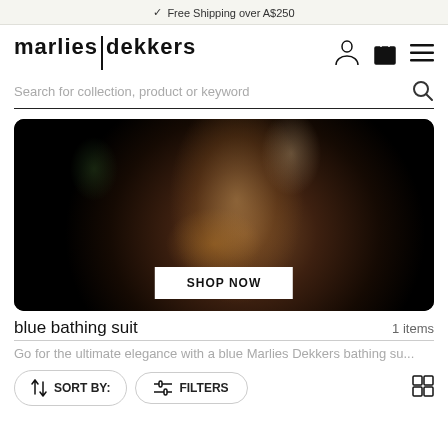✓ Free Shipping over A$250
[Figure (logo): marlies|dekkers brand logo with vertical divider between the two words]
Search for collection, product or keyword
[Figure (photo): Two women in dark vintage-style lingerie posing in a theatrical setting with dark background. A button reads 'SHOP NOW'.]
blue bathing suit
1 items
Go for the ultimate elegance with a blue Marlies Dekkers bathing su...
SORT BY:
FILTERS